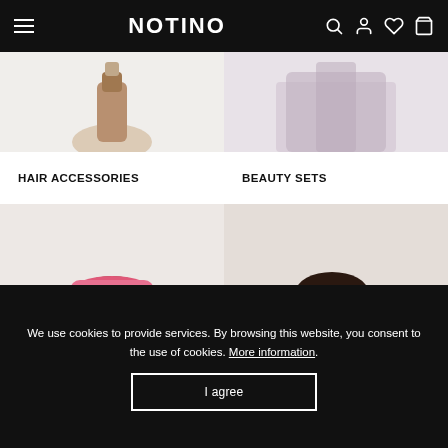NOTINO
[Figure (photo): Top strip showing product images: left side shows hair accessories product, right side shows beauty set product on light backgrounds]
HAIR ACCESSORIES
BEAUTY SETS
[Figure (photo): Woman wearing a pink/coral spa headband, touching her face, dressed in a pink satin robe, on a light background]
[Figure (photo): Woman wearing a cream satin sleep mask/headband, hugging a silk pillow, with a braided ponytail, dressed in a beige satin robe]
We use cookies to provide services. By browsing this website, you consent to the use of cookies. More information.
I agree